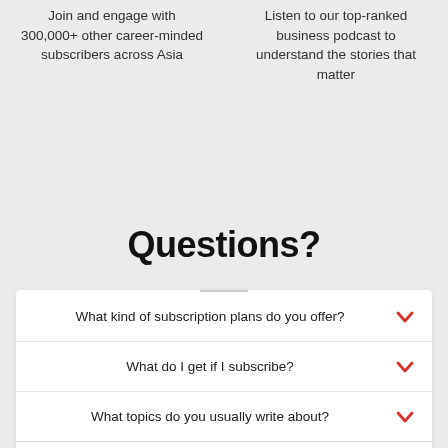Join and engage with 300,000+ other career-minded subscribers across Asia
Listen to our top-ranked business podcast to understand the stories that matter
Questions?
What kind of subscription plans do you offer?
What do I get if I subscribe?
What topics do you usually write about?
How many newsletters do you have?
Does a Premium subscription to your Indian edition get me access to the Southeast Asia